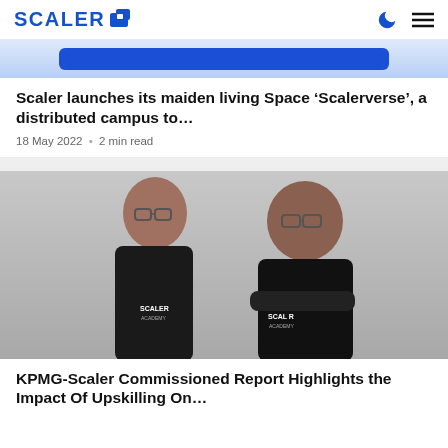SCALER [logo]
[Figure (screenshot): Partial view of a card with a blue button on a light blue background]
Scaler launches its maiden living Space ‘Scalerverse’, a distributed campus to…
18 May 2022 • 2 min read
[Figure (photo): Two men wearing black Scaler Academy t-shirts; one standing normally, one with arms crossed, both wearing glasses, photographed against a light grey background]
KPMG-Scaler Commissioned Report Highlights the Impact Of Upskilling On…